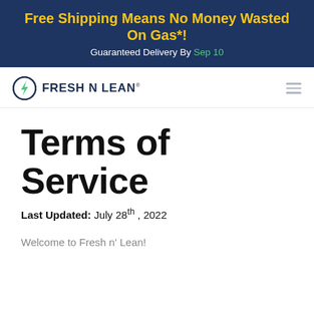Free Shipping Means No Money Wasted On Gas*! Guaranteed Delivery By Sep 10
[Figure (logo): Fresh N Lean logo with lightning bolt icon in a circle]
Terms of Service
Last Updated: July 28th , 2022
Welcome to Fresh n' Lean!